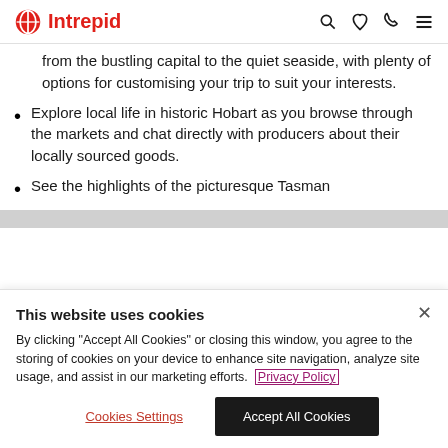Intrepid
from the bustling capital to the quiet seaside, with plenty of options for customising your trip to suit your interests.
Explore local life in historic Hobart as you browse through the markets and chat directly with producers about their locally sourced goods.
See the highlights of the picturesque Tasman
This website uses cookies
By clicking "Accept All Cookies" or closing this window, you agree to the storing of cookies on your device to enhance site navigation, analyze site usage, and assist in our marketing efforts. Privacy Policy
Cookies Settings | Accept All Cookies